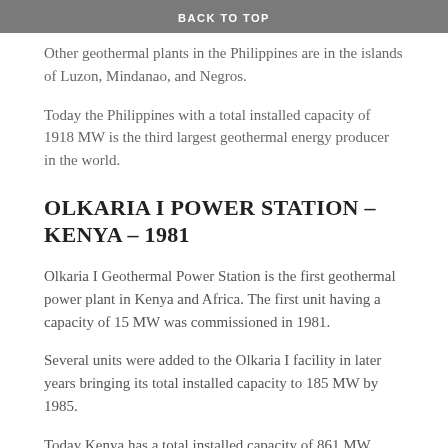BACK TO TOP
Other geothermal plants in the Philippines are in the islands of Luzon, Mindanao, and Negros.
Today the Philippines with a total installed capacity of 1918 MW is the third largest geothermal energy producer in the world.
OLKARIA I POWER STATION – KENYA – 1981
Olkaria I Geothermal Power Station is the first geothermal power plant in Kenya and Africa. The first unit having a capacity of 15 MW was commissioned in 1981.
Several units were added to the Olkaria I facility in later years bringing its total installed capacity to 185 MW by 1985.
Today Kenya has a total installed capacity of 861 MW making it the eighth largest geothermal energy producer in the world.